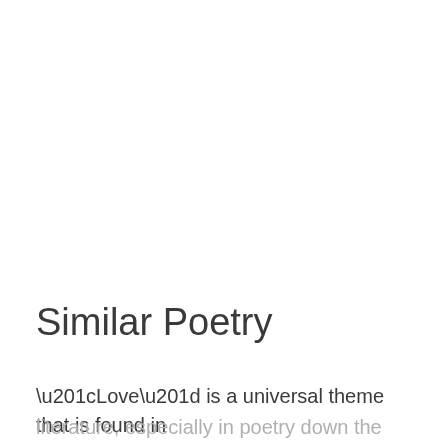Similar Poetry
“Love” is a universal theme that is found in literature, especially in poetry down the ages. Some of the notable poems that best